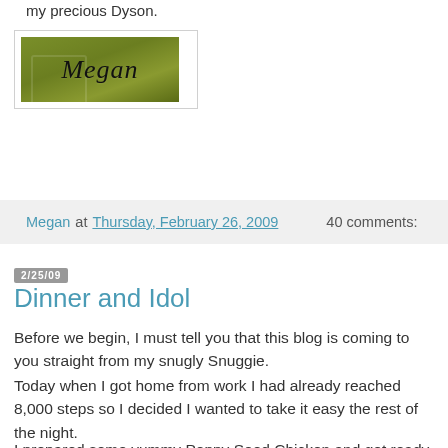my precious Dyson.
[Figure (illustration): Olive green signature image with cursive text reading 'Megan' in dark script, with a faint camera icon watermark on the left side.]
Megan at Thursday, February 26, 2009   40 comments:
2/25/09
Dinner and Idol
Before we begin, I must tell you that this blog is coming to you straight from my snugly Snuggie.
Today when I got home from work I had already reached 8,000 steps so I decided I wanted to take it easy the rest of the night.
I prepared some yummy Poppy Seed Chicken and got ready